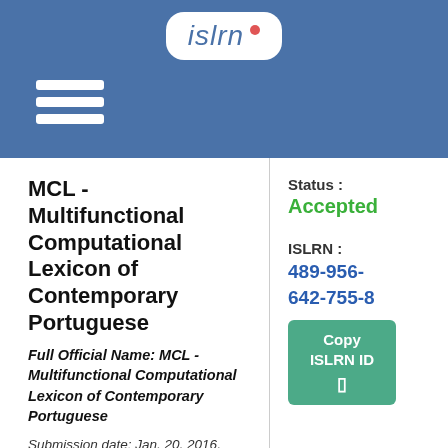[Figure (logo): ISLRN logo: white rounded rectangle with italic blue text 'islrn' and a small red dot, on a blue header bar with a hamburger menu icon on the left]
MCL - Multifunctional Computational Lexicon of Contemporary Portuguese
Full Official Name: MCL - Multifunctional Computational Lexicon of Contemporary Portuguese
Submission date: Jan. 20, 2016, 11:58 a.m.
Status : Accepted
ISLRN : 489-956-642-755-8